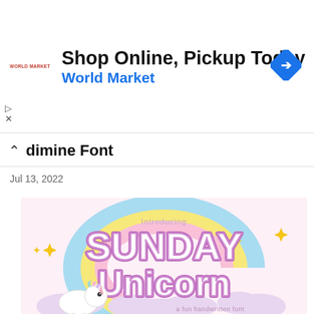[Figure (screenshot): Ad banner for World Market: 'Shop Online, Pickup Today' with blue navigation arrow icon]
dimine Font
Jul 13, 2022
[Figure (illustration): Promotional image for 'Sunday Unicorn' font - a fun handwritten font, featuring cartoon unicorn, rainbow, pastel colors, sparkles, and bubble lettering]